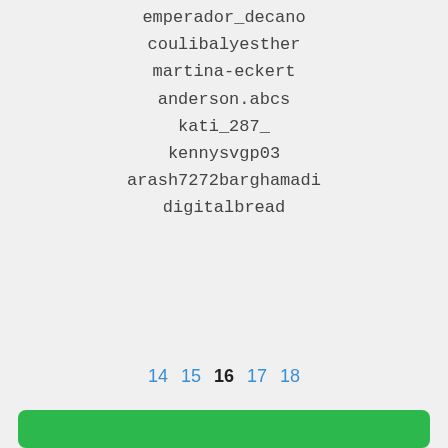emperador_decano
coulibalyesther
martina-eckert
anderson.abcs
kati_287_
kennysvgp03
arash7272barghamadi
digitalbread
14 15 16 17 18